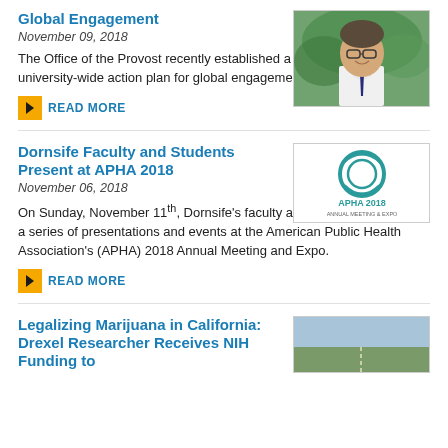Global Engagement
November 09, 2018
[Figure (photo): Portrait photo of a man in white shirt and tie, smiling, outdoors with green foliage background]
The Office of the Provost recently established a council to map out a university-wide action plan for global engagement at Drexel.
READ MORE
Dornsife Faculty and Students Present at APHA 2018
November 06, 2018
[Figure (logo): APHA 2018 logo — circular teal graphic with APHA 2018 text below]
On Sunday, November 11th, Dornsife's faculty and students will kick-off a series of presentations and events at the American Public Health Association's (APHA) 2018 Annual Meeting and Expo.
READ MORE
Legalizing Marijuana in California: Drexel Researcher Receives NIH Funding to
[Figure (photo): Outdoor photo, appears to show a road or landscape scene]